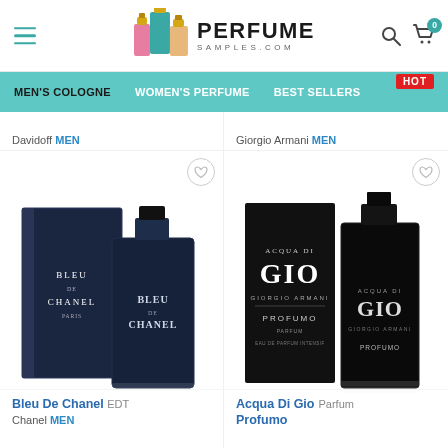[Figure (screenshot): PerfumeSamples.com website header with logo (three perfume bottle illustrations), PERFUME SAMPLES.COM text, hamburger menu, search icon, and cart icon with badge showing 0]
[Figure (screenshot): Navigation bar with teal background showing MEN'S COLOGNE (active/dark), WOMEN'S PERFUME, BEST SELLERS, and HOT red badge]
Davidoff MEN
Giorgio Armani MEN
[Figure (photo): Bleu De Chanel EDT product image showing box and bottle, dark navy blue packaging]
Bleu De Chanel EDT
Chanel MEN
[Figure (photo): Acqua Di Gio Profumo product image showing black box and bottle with Giorgio Armani branding]
Acqua Di Gio Profumo  Parfum
Giorgio Armani MEN (partial, cut off)